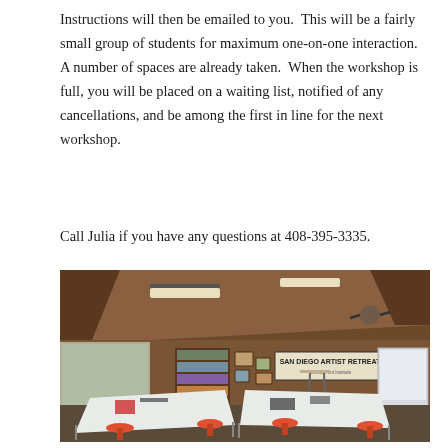Instructions will then be emailed to you.  This will be a fairly small group of students for maximum one-on-one interaction.  A number of spaces are already taken.  When the workshop is full, you will be placed on a waiting list, notified of any cancellations, and be among the first in line for the next workshop.
Call Julia if you have any questions at 408-395-3335.
[Figure (photo): Interior of an art studio/workshop space with wooden ceiling and walls. Tables with white paper covers are set up with red/orange stools. A sign reading 'SAN DIEGO ARTIST RETREAT' is visible on the back wall, along with shelves of art supplies and framed artwork.]